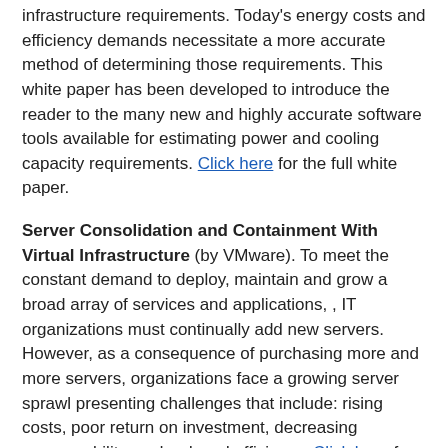infrastructure requirements. Today's energy costs and efficiency demands necessitate a more accurate method of determining those requirements. This white paper has been developed to introduce the reader to the many new and highly accurate software tools available for estimating power and cooling capacity requirements. Click here for the full white paper.
Server Consolidation and Containment With Virtual Infrastructure (by VMware). To meet the constant demand to deploy, maintain and grow a broad array of services and applications, , IT organizations must continually add new servers. However, as a consequence of purchasing more and more servers, organizations face a growing server sprawl presenting challenges that include: rising costs, poor return on investment, decreasing manageability, and reduced efficiency. Click here for the full white paper.